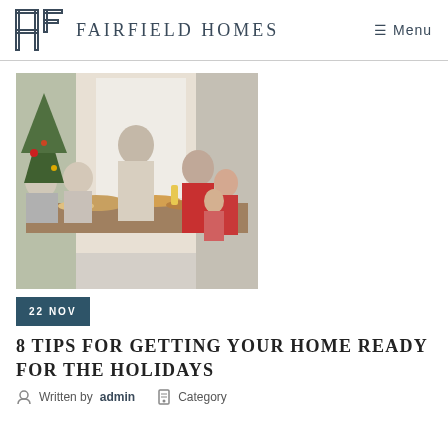FAIRFIELD HOMES | Menu
[Figure (photo): Family gathered around a holiday dinner table; a man standing and holding a drink, with elderly couple and children seated, Christmas tree visible in background]
22 NOV
8 TIPS FOR GETTING YOUR HOME READY FOR THE HOLIDAYS
Written by admin   Category